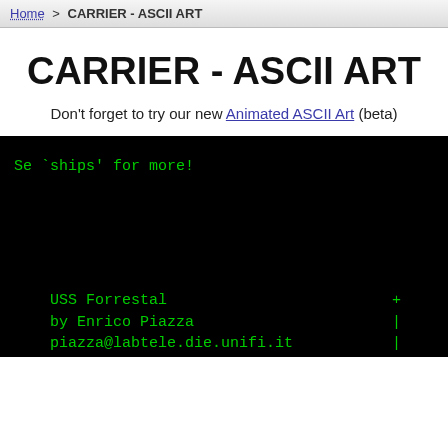Home > CARRIER - ASCII ART
CARRIER - ASCII ART
Don't forget to try our new Animated ASCII Art (beta)
[Figure (screenshot): Black terminal window showing green monospace ASCII art text. Lines include: 'Se `ships' for more!', 'USS Forrestal  +', 'by Enrico Piazza  |', 'piazza@labtele.die.unifi.it  |']